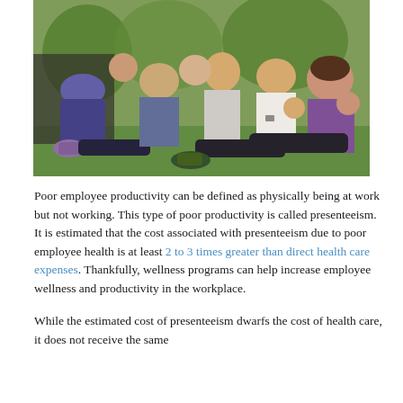[Figure (photo): Group of people doing outdoor exercise class, sitting on ground performing leg raises or crunches in a park setting. Multiple people visible including a woman in purple tank top in foreground, man in white shirt, and others wearing athletic clothing.]
Poor employee productivity can be defined as physically being at work but not working. This type of poor productivity is called presenteeism. It is estimated that the cost associated with presenteeism due to poor employee health is at least 2 to 3 times greater than direct health care expenses. Thankfully, wellness programs can help increase employee wellness and productivity in the workplace.
While the estimated cost of presenteeism dwarfs the cost of health care, it does not receive the same...